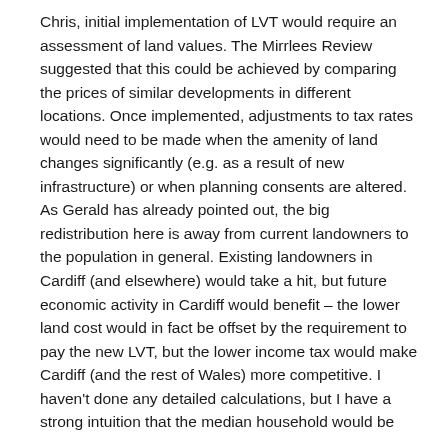Chris, initial implementation of LVT would require an assessment of land values. The Mirrlees Review suggested that this could be achieved by comparing the prices of similar developments in different locations. Once implemented, adjustments to tax rates would need to be made when the amenity of land changes significantly (e.g. as a result of new infrastructure) or when planning consents are altered. As Gerald has already pointed out, the big redistribution here is away from current landowners to the population in general. Existing landowners in Cardiff (and elsewhere) would take a hit, but future economic activity in Cardiff would benefit – the lower land cost would in fact be offset by the requirement to pay the new LVT, but the lower income tax would make Cardiff (and the rest of Wales) more competitive. I haven't done any detailed calculations, but I have a strong intuition that the median household would be